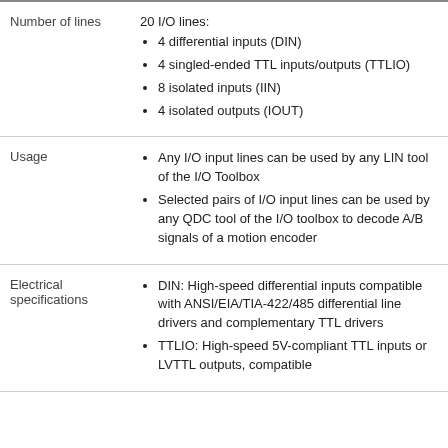| Property | Details |
| --- | --- |
| Number of lines | 20 I/O lines:
• 4 differential inputs (DIN)
• 4 singled-ended TTL inputs/outputs (TTLIO)
• 8 isolated inputs (IIN)
• 4 isolated outputs (IOUT) |
| Usage | • Any I/O input lines can be used by any LIN tool of the I/O Toolbox
• Selected pairs of I/O input lines can be used by any QDC tool of the I/O toolbox to decode A/B signals of a motion encoder |
| Electrical specifications | • DIN: High-speed differential inputs compatible with ANSI/EIA/TIA-422/485 differential line drivers and complementary TTL drivers
• TTLIO: High-speed 5V-compliant TTL inputs or LVTTL outputs, compatible |